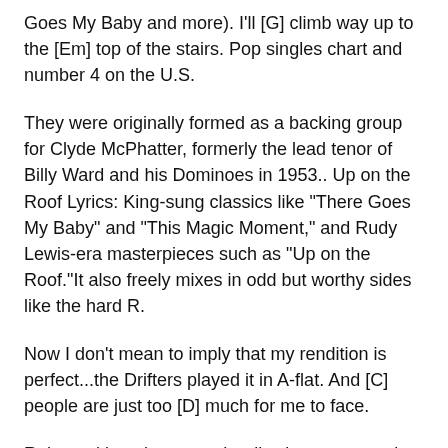Goes My Baby and more). I'll [G] climb way up to the [Em] top of the stairs. Pop singles chart and number 4 on the U.S.
They were originally formed as a backing group for Clyde McPhatter, formerly the lead tenor of Billy Ward and his Dominoes in 1953.. Up on the Roof Lyrics: King-sung classics like "There Goes My Baby" and "This Magic Moment," and Rudy Lewis-era masterpieces such as "Up on the Roof."It also freely mixes in odd but worthy sides like the hard R.
Now I don't mean to imply that my rendition is perfect...the Drifters played it in A-flat. And [C] people are just too [D] much for me to face.
Released late that year, the disc became a major